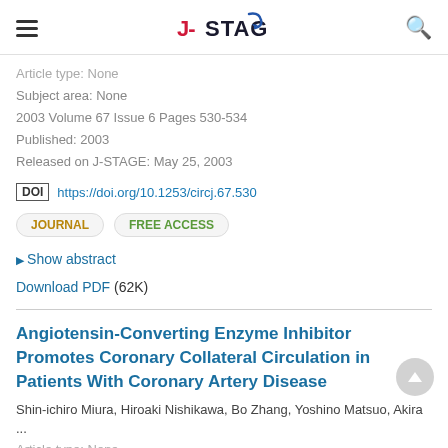J-STAGE
Article type: None
Subject area: None
2003 Volume 67 Issue 6 Pages 530-534
Published: 2003
Released on J-STAGE: May 25, 2003
DOI https://doi.org/10.1253/circj.67.530
JOURNAL   FREE ACCESS
▶ Show abstract
Download PDF (62K)
Angiotensin-Converting Enzyme Inhibitor Promotes Coronary Collateral Circulation in Patients With Coronary Artery Disease
Shin-ichiro Miura, Hiroaki Nishikawa, Bo Zhang, Yoshino Matsuo, Akira
...
Article type: None